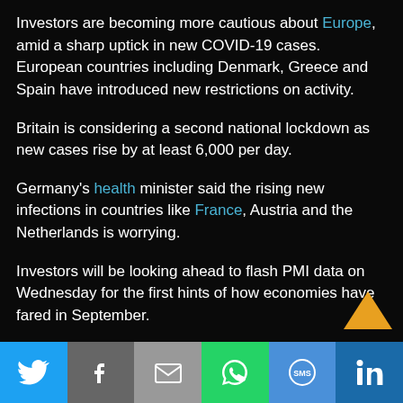Investors are becoming more cautious about Europe, amid a sharp uptick in new COVID-19 cases. European countries including Denmark, Greece and Spain have introduced new restrictions on activity.
Britain is considering a second national lockdown as new cases rise by at least 6,000 per day.
Germany's health minister said the rising new infections in countries like France, Austria and the Netherlands is worrying.
Investors will be looking ahead to flash PMI data on Wednesday for the first hints of how economies have fared in September.
[Figure (other): Social sharing bar with Twitter, Facebook, Email, WhatsApp, SMS, and LinkedIn buttons]